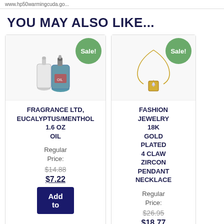www.hp50warmingcuda.go...
YOU MAY ALSO LIKE...
[Figure (photo): Product photo of fragrance oil bottles with Sale badge]
FRAGRANCE LTD, EUCALYPTUS/MENTHOL 1.6 OZ OIL
Regular Price:
$14.88
$7.22
Add to
[Figure (photo): Product photo of gold pendant necklace with Sale badge]
FASHION JEWELRY 18K GOLD PLATED 4 CLAW ZIRCON PENDANT NECKLACE
Regular Price:
$26.95
$18.77